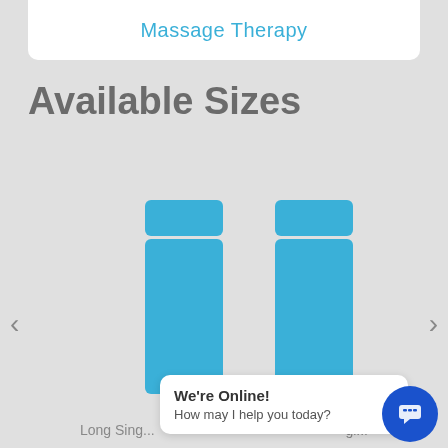Massage Therapy
Available Sizes
[Figure (illustration): Carousel showing two massage table size options (Long Single and another size partially visible) with blue illustrated table icons, left and right navigation arrows.]
Long Sing... gl...
We're Online! How may I help you today?